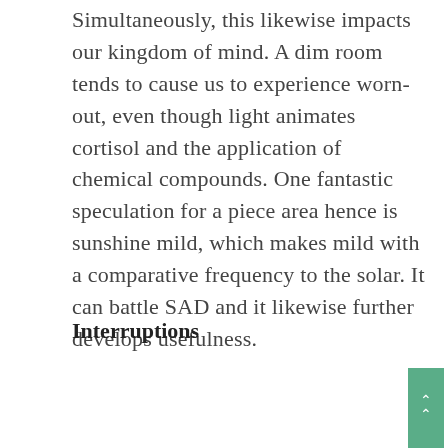Simultaneously, this likewise impacts our kingdom of mind. A dim room tends to cause us to experience worn-out, even though light animates cortisol and the application of chemical compounds. One fantastic speculation for a piece area hence is sunshine mild, which makes mild with a comparative frequency to the solar. It can battle SAD and it likewise further develops usefulness.
Interruptions
[Figure (screenshot): Video thumbnail showing a dark/black background with a circular avatar image on the left, text 'Office Space, opening ...' in white, and a vertical three-dot menu icon. A green scroll-to-top button with double chevron arrows is visible on the right edge.]